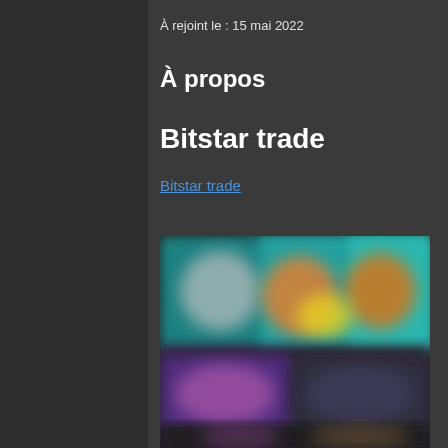À rejoint le : 15 mai 2022
À propos
Bitstar trade
Bitstar trade
[Figure (screenshot): Blurred screenshot showing a colorful gaming or entertainment interface with characters and colored panels visible.]